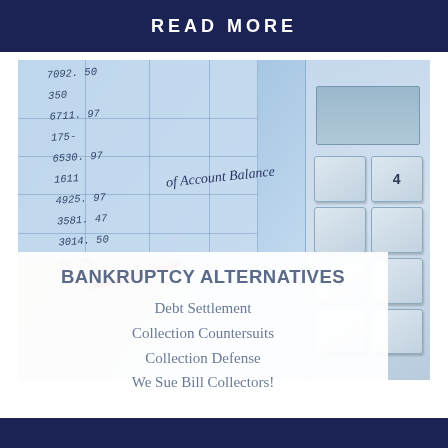READ MORE
[Figure (photo): Photo of a handwritten financial ledger/account book with numbers (7092.50, 350, 6711.97, 175, 6530.97, 1611, 4925.97, 3581.47, 3014.50) and an 'of Account Balance' label visible, alongside a calculator on the right side. A hand holding a red pen is visible in the lower left.]
BANKRUPTCY ALTERNATIVES
Debt Settlement
Collection Countersuits
Collection Defense
We Sue Bill Collectors!